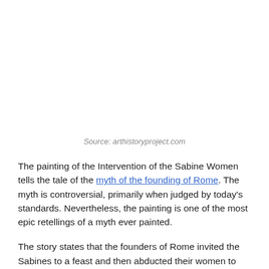Source: arthistoryproject.com
The painting of the Intervention of the Sabine Women tells the tale of the myth of the founding of Rome. The myth is controversial, primarily when judged by today’s standards. Nevertheless, the painting is one of the most epic retellings of a myth ever painted.
The story states that the founders of Rome invited the Sabines to a feast and then abducted their women to have sufficient numbers for the growth and prosperity of their